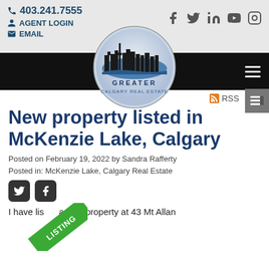403.241.7555 | AGENT LOGIN | EMAIL | f | tw | in | YouTube | Instagram
[Figure (logo): Greater Calgary Real Estate circular logo with city skyline silhouette]
New property listed in McKenzie Lake, Calgary
Posted on February 19, 2022 by Sandra Rafferty
Posted in: McKenzie Lake, Calgary Real Estate
[Figure (infographic): Twitter and Facebook share icon buttons]
I have listed a new property at 43 Mt Allan